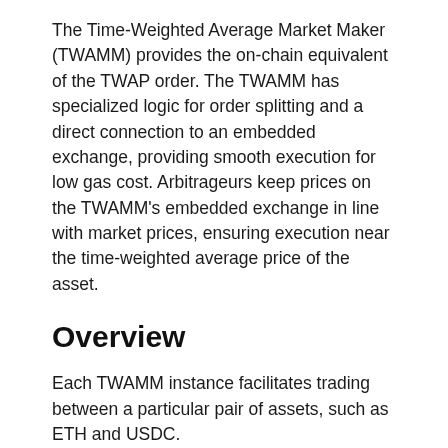The Time-Weighted Average Market Maker (TWAMM) provides the on-chain equivalent of the TWAP order. The TWAMM has specialized logic for order splitting and a direct connection to an embedded exchange, providing smooth execution for low gas cost. Arbitrageurs keep prices on the TWAMM's embedded exchange in line with market prices, ensuring execution near the time-weighted average price of the asset.
Overview
Each TWAMM instance facilitates trading between a particular pair of assets, such as ETH and USDC.
The TWAMM contains an embedded AMM, a standard constant-product market maker for those two assets. Anyone may trade with this embedded AMM at any time, just as if it were a normal AMM.